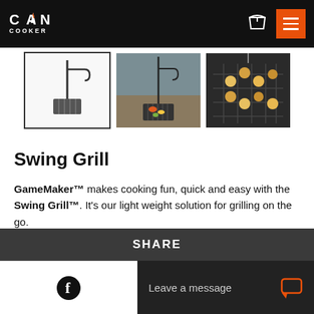[Figure (logo): Can Cooker logo on black header bar with shopping cart and orange hamburger menu button]
[Figure (photo): Three product thumbnails: first shows Swing Grill product line drawing on white background with border, second shows grill in outdoor/beach setting, third shows food on grill grate]
Swing Grill
GameMaker™ makes cooking fun, quick and easy with the Swing Grill™. It's our light weight solution for grilling on the go.
SHARE
Leave a message